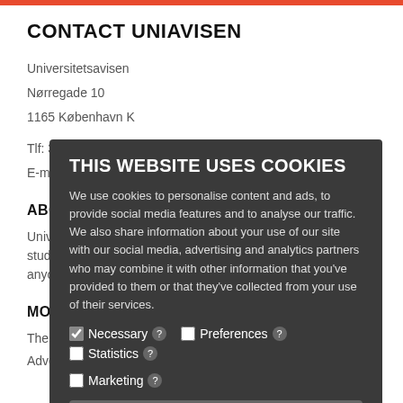CONTACT UNIAVISEN
Universitetsavisen
Nørregade 10
1165 København K
Tlf: 35 32 28 98 (mon-thors)
E-mail: uni-avis@adm.ku.dk
ABOUT UNIAVISEN
University Post is the critical, independent newspaper for students and employees of University of Copenhagen and anyone else who wishes to read it. Read more about it here.
MORE
The editorial team
Advertising
THIS WEBSITE USES COOKIES
We use cookies to personalise content and ads, to provide social media features and to analyse our traffic. We also share information about your use of our site with our social media, advertising and analytics partners who may combine it with other information that you've provided to them or that they've collected from your use of their services.
Necessary [checked]
Preferences
Statistics
Marketing
Allow selection
Allow all cookies